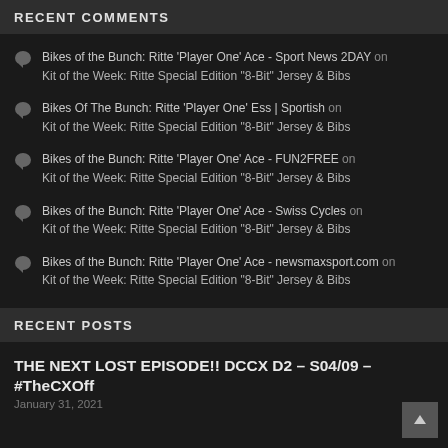RECENT COMMENTS
Bikes of the Bunch: Ritte 'Player One' Ace - Sport News 2DAY on Kit of the Week: Ritte Special Edition "8-Bit" Jersey & Bibs
Bikes Of The Bunch: Ritte 'Player One' Ess | Sportish on Kit of the Week: Ritte Special Edition "8-Bit" Jersey & Bibs
Bikes of the Bunch: Ritte 'Player One' Ace - FUN2FREE on Kit of the Week: Ritte Special Edition "8-Bit" Jersey & Bibs
Bikes of the Bunch: Ritte 'Player One' Ace - Swiss Cycles on Kit of the Week: Ritte Special Edition "8-Bit" Jersey & Bibs
Bikes of the Bunch: Ritte 'Player One' Ace - newsmaxsport.com on Kit of the Week: Ritte Special Edition "8-Bit" Jersey & Bibs
RECENT POSTS
THE NEXT LOST EPISODE!! DCCX D2 – S04/09 – #TheCXOff
January 31, 2021